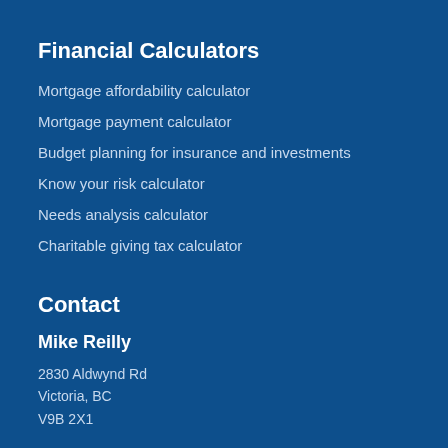Financial Calculators
Mortgage affordability calculator
Mortgage payment calculator
Budget planning for insurance and investments
Know your risk calculator
Needs analysis calculator
Charitable giving tax calculator
Contact
Mike Reilly
2830 Aldwynd Rd
Victoria, BC
V9B 2X1